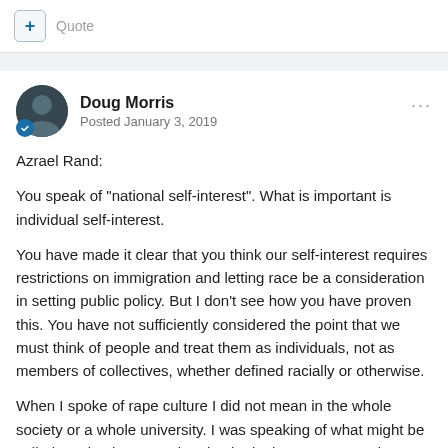+ Quote
Doug Morris
Posted January 3, 2019
Azrael Rand:
You speak of "national self-interest".  What is important is individual self-interest.
You have made it clear that you think our self-interest requires restrictions on immigration and letting race be a consideration in setting public policy.  But I don't see how you have proven this.  You have not sufficiently considered the point that we must think of people and treat them as individuals, not as members of collectives, whether defined racially or otherwise.
When I spoke of rape culture I did not mean in the whole society or a whole university.  I was speaking of what might be called a subculture, a cultural attitude that seems to exist among some